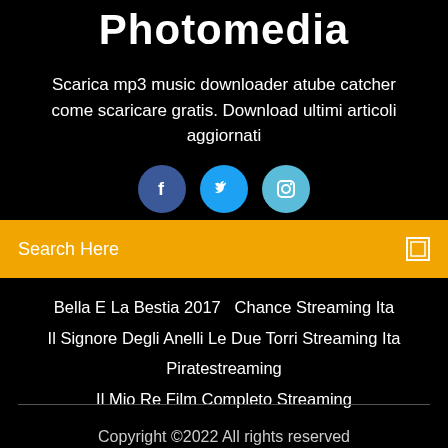Photomedia
Scarica mp3 music downloader atube catcher come scaricare gratis. Download ultimi articoli aggiornati
[Figure (illustration): Three social media icon buttons: Facebook (dark blue circle with f), Twitter (blue circle with bird), Instagram (light blue circle with camera icon)]
Search Here
Bella E La Bestia 2017   Chance Streaming Ita
Il Signore Degli Anelli Le Due Torri Streaming Ita
Piratestreaming
Il Mio Re Film Completo Streaming
Copyright ©2022 All rights reserved